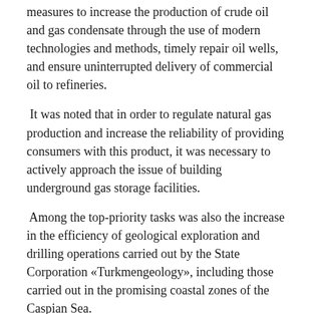measures to increase the production of crude oil and gas condensate through the use of modern technologies and methods, timely repair oil wells, and ensure uninterrupted delivery of commercial oil to refineries.
It was noted that in order to regulate natural gas production and increase the reliability of providing consumers with this product, it was necessary to actively approach the issue of building underground gas storage facilities.
Among the top-priority tasks was also the increase in the efficiency of geological exploration and drilling operations carried out by the State Corporation «Turkmengeology», including those carried out in the promising coastal zones of the Caspian Sea.
Pointing out that large oil and gas companies and investors should be involved in this activity, President Gurbanguly Berdimuhamedov ordered to submit relevant proposals in this regard within two months.
By creating a favorable investment climate, all conditions for successful business, Turkmenistan strives for long-term.